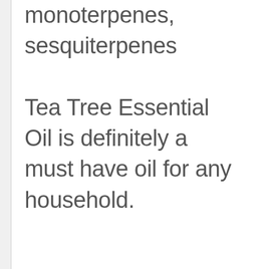monoterpenes, sesquiterpenes Tea Tree Essential Oil is definitely a must have oil for any household.